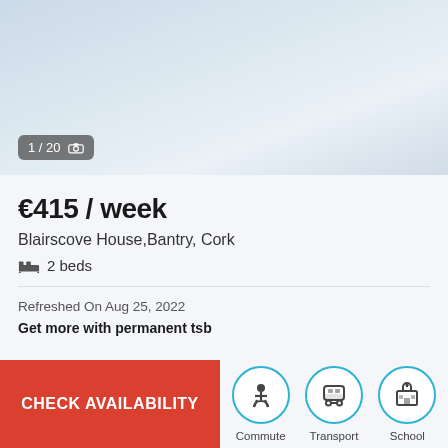[Figure (photo): Light blue-grey property photo placeholder area at top of listing card]
1 / 20 [camera icon]
€415 / week
Blairscove House,Bantry, Cork
2 beds
Refreshed On Aug 25, 2022
Get more with permanent tsb
CHECK AVAILABILITY
Commute
Transport
School